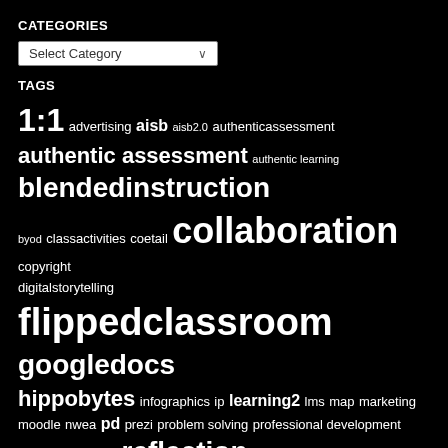CATEGORIES
Select Category
TAGS
[Figure (infographic): Tag cloud with education-related terms in varying font sizes on a black background. Larger words include: 1:1, blendedinstruction, collaboration, flippedclassroom, googledocs, reflection, reverseinstruction, showcase, teaching, technology. Smaller words include: advertising, aisb, aisb2.0, authenticassessment, authentic assessment, authentic learning, byod, classactivities, coetail, copyright, digitalstorytelling, hippobytes, infographics, ip, learning2, lms, map, marketing, moodle, nwea, pd, prezi, problem solving, professional development, recipe for innovation, rfi, service learning, simulations, standards based grading, storytelling, strategic planning, studentempowerment.]